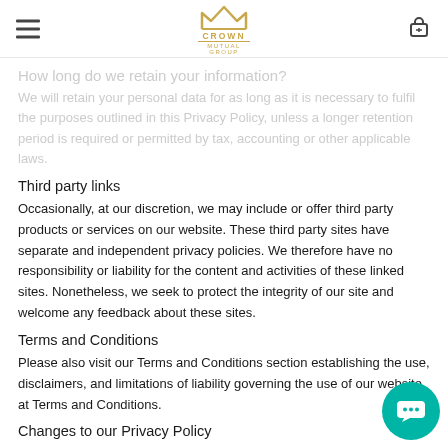Crown Mutual Group
How long do we retain your information?
We will retain your personal data for as long as it is necessary to fulfil the purposes outlined in this Privacy Policy, unless a longer retention period is required or permitted by tax, accounting or other applicable laws.
Third party links
Occasionally, at our discretion, we may include or offer third party products or services on our website. These third party sites have separate and independent privacy policies. We therefore have no responsibility or liability for the content and activities of these linked sites. Nonetheless, we seek to protect the integrity of our site and welcome any feedback about these sites.
Terms and Conditions
Please also visit our Terms and Conditions section establishing the use, disclaimers, and limitations of liability governing the use of our website at Terms and Conditions.
Changes to our Privacy Policy
If you decide to leave our site, please read our privacy policy will not the same...